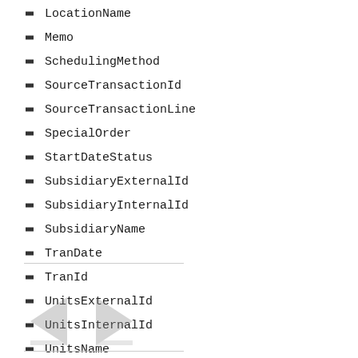LocationName
Memo
SchedulingMethod
SourceTransactionId
SourceTransactionLine
SpecialOrder
StartDateStatus
SubsidiaryExternalId
SubsidiaryInternalId
SubsidiaryName
TranDate
TranId
UnitsExternalId
UnitsInternalId
UnitsName
[Figure (other): Navigation arrows (previous/next page) with horizontal rule separators above and below]